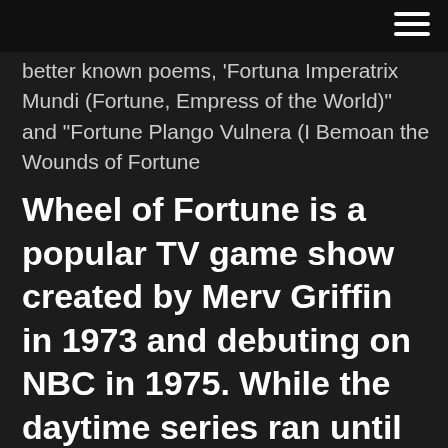better known poems, 'Fortuna Imperatrix Mundi (Fortune, Empress of the World)" and "Fortune Plango Vulnera (I Bemoan the Wounds of Fortune
Wheel of Fortune is a popular TV game show created by Merv Griffin in 1973 and debuting on NBC in 1975. While the daytime series ran until 1991, switching hosts four times and moving to CBS for 18 months, the more widely-recognized nighttime version debuted in 1983. The